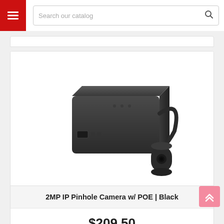Search our catalog
[Figure (photo): 2MP IP Pinhole Camera with POE in Black color — a rectangular black device with a small cylindrical pinhole camera lens connected by a cable]
2MP IP Pinhole Camera w/ POE | Black
$209.50